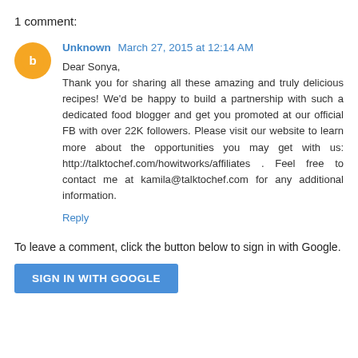1 comment:
Unknown  March 27, 2015 at 12:14 AM
Dear Sonya,
Thank you for sharing all these amazing and truly delicious recipes! We'd be happy to build a partnership with such a dedicated food blogger and get you promoted at our official FB with over 22K followers. Please visit our website to learn more about the opportunities you may get with us: http://talktochef.com/howitworks/affiliates . Feel free to contact me at kamila@talktochef.com for any additional information.
Reply
To leave a comment, click the button below to sign in with Google.
[Figure (other): Blue 'SIGN IN WITH GOOGLE' button]